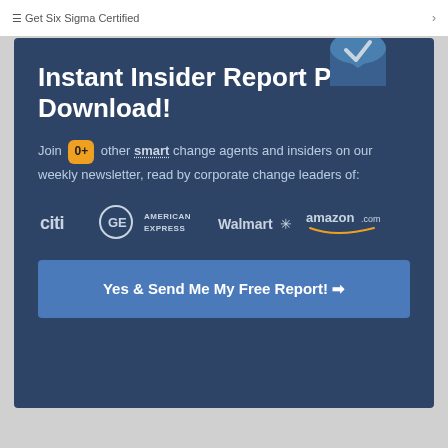Get Six Sigma Certified
Instant Insider Report PDF Download!
Join 0+ other smart change agents and insiders on our weekly newsletter, read by corporate change leaders of:
[Figure (logo): Company logos: Citi, GE, American Express, Walmart, amazon.com]
Yes & Send Me My Free Report! →